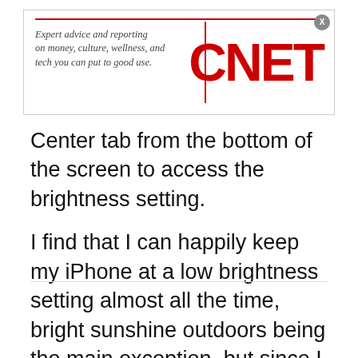[Figure (screenshot): CNET advertisement banner with tagline 'Expert advice and reporting on money, culture, wellness, and tech you can put to good use.' and the CNET logo in red, with a close button (X) in the top right corner]
Center tab from the bottom of the screen to access the brightness setting.
I find that I can happily keep my iPhone at a low brightness setting almost all the time, bright sunshine outdoors being the main exception, but since I live in the UK, that's not a thing I have to deal with often.